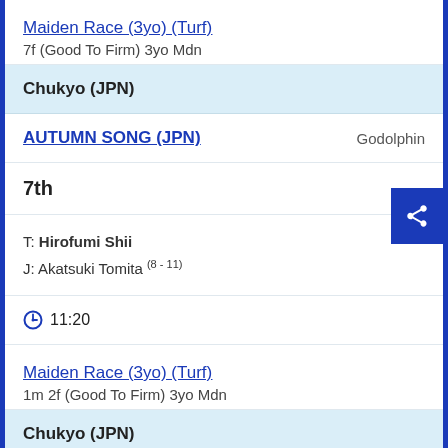Maiden Race (3yo) (Turf)
7f (Good To Firm) 3yo Mdn
Chukyo (JPN)
AUTUMN SONG (JPN)   Godolphin
7th
T: Hirofumi Shii
J: Akatsuki Tomita (8 - 11)
11:20
Maiden Race (3yo) (Turf)
1m 2f (Good To Firm) 3yo Mdn
Chukyo (JPN)